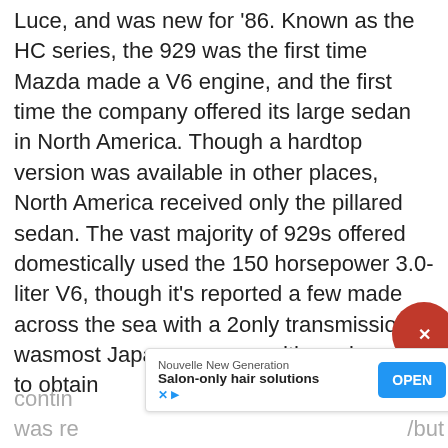Luce, and was new for '86. Known as the HC series, the 929 was the first time Mazda made a V6 engine, and the first time the company offered its large sedan in North America. Though a hardtop version was available in other places, North America received only the pillared sedan. The vast majority of 929s offered domestically used the 150 horsepower 3.0-liter V6, though it's reported a few made across the sea with a 2... only transmission was... most Japanese car on... the only way to obtain...
[Figure (screenshot): Video thumbnail overlay showing a game or app with dotted pattern, partially covering the text. AutoGuide watermark at bottom left. Red circle close button at top right.]
contin... hen it was re... /but
[Figure (infographic): Advertisement banner: Nouvelle New Generation - Salon-only hair solutions - OPEN button]